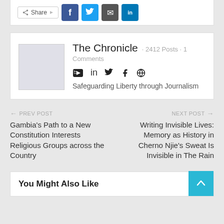[Figure (screenshot): Social share bar with Share button, Facebook, Twitter, Email, and LinkedIn icons]
The Chronicle · 2412 Posts · 1 Comments
[Figure (other): Author social media icons: YouTube, LinkedIn, Twitter, Facebook, Globe]
Safeguarding Liberty through Journalism
← PREV POST  Gambia's Path to a New Constitution Interests Religious Groups across the Country
NEXT POST → Writing Invisible Lives: Memory as History in Cherno Njie's Sweat Is Invisible in The Rain
You Might Also Like